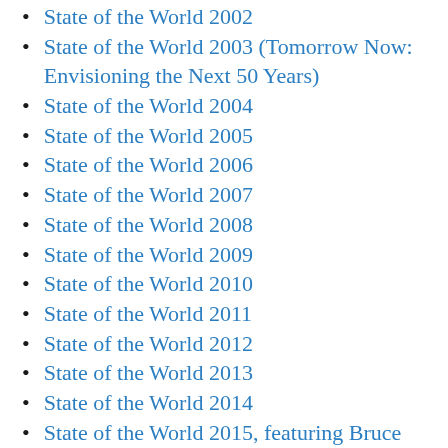State of the World 2002
State of the World 2003 (Tomorrow Now: Envisioning the Next 50 Years)
State of the World 2004
State of the World 2005
State of the World 2006
State of the World 2007
State of the World 2008
State of the World 2009
State of the World 2010
State of the World 2011
State of the World 2012
State of the World 2013
State of the World 2014
State of the World 2015, featuring Bruce Sterling and Cory Doctorow
State of the World 2016